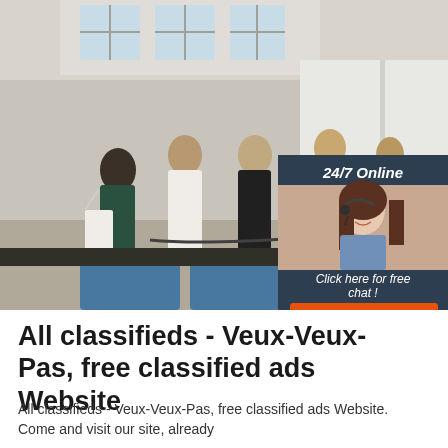[Figure (photo): Factory/warehouse scene with several people standing and discussing, one woman with a white tote bag, industrial setting with blue seats in foreground. Overlaid with a '24/7 Online' customer service ad box featuring a woman with headset, 'Click here for free chat!' text, and an orange 'QUOTATION' button.]
All classifieds - Veux-Veux-Pas, free classified ads Website
All classifieds - Veux-Veux-Pas, free classified ads Website. Come and visit our site, already